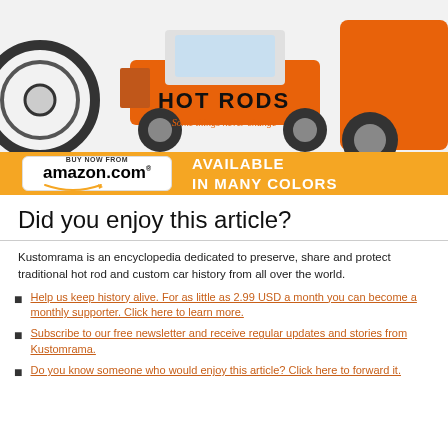[Figure (illustration): Hot Rods t-shirt advertisement showing an orange hot rod car illustration with text 'HOT RODS' and tagline 'Some things never change', with an Amazon.com 'Buy Now' banner and 'Available in Many Colors' text on orange background]
Did you enjoy this article?
Kustomrama is an encyclopedia dedicated to preserve, share and protect traditional hot rod and custom car history from all over the world.
Help us keep history alive. For as little as 2.99 USD a month you can become a monthly supporter. Click here to learn more.
Subscribe to our free newsletter and receive regular updates and stories from Kustomrama.
Do you know someone who would enjoy this article? Click here to forward it.